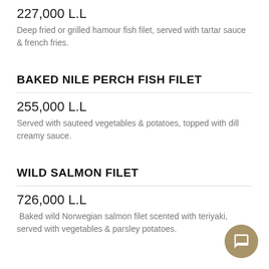227,000 L.L
Deep fried or grilled hamour fish filet, served with tartar sauce & french fries.
BAKED NILE PERCH FISH FILET
255,000 L.L
Served with sauteed vegetables & potatoes, topped with dill creamy sauce.
WILD SALMON FILET
726,000 L.L
Baked wild Norwegian salmon filet scented with teriyaki, served with vegetables & parsley potatoes.